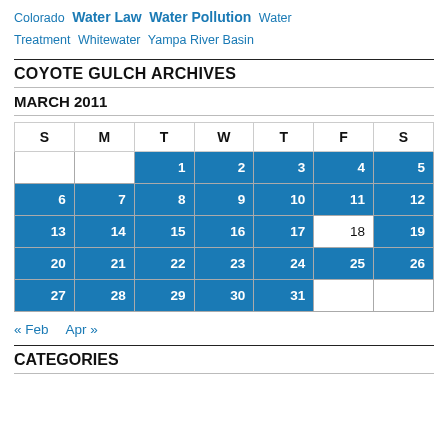Colorado Water Law Water Pollution Water Treatment Whitewater Yampa River Basin
COYOTE GULCH ARCHIVES
MARCH 2011
| S | M | T | W | T | F | S |
| --- | --- | --- | --- | --- | --- | --- |
|  |  | 1 | 2 | 3 | 4 | 5 |
| 6 | 7 | 8 | 9 | 10 | 11 | 12 |
| 13 | 14 | 15 | 16 | 17 | 18 | 19 |
| 20 | 21 | 22 | 23 | 24 | 25 | 26 |
| 27 | 28 | 29 | 30 | 31 |  |  |
« Feb   Apr »
CATEGORIES